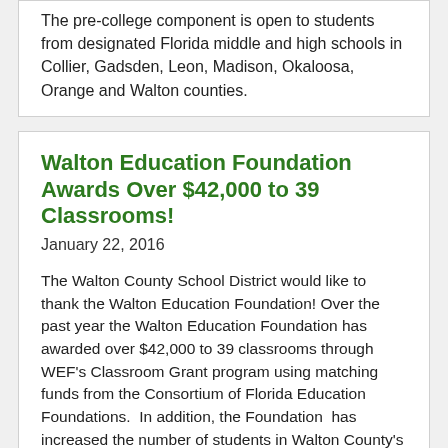The pre-college component is open to students from designated Florida middle and high schools in Collier, Gadsden, Leon, Madison, Okaloosa, Orange and Walton counties.
Walton Education Foundation Awards Over $42,000 to 39 Classrooms!
January 22, 2016
The Walton County School District would like to thank the Walton Education Foundation! Over the past year the Walton Education Foundation has awarded over $42,000 to 39 classrooms through WEF’s Classroom Grant program using matching funds from the Consortium of Florida Education Foundations.  In addition, the Foundation  has increased the number of students in Walton County’s Take Stock in Children program by 32 percent.  The Foundation has also worked with the Bill & Melinda Gates Foundation to